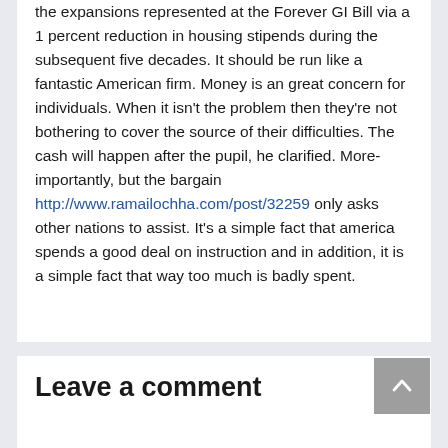the expansions represented at the Forever GI Bill via a 1 percent reduction in housing stipends during the subsequent five decades. It should be run like a fantastic American firm. Money is an great concern for individuals. When it isn't the problem then they're not bothering to cover the source of their difficulties. The cash will happen after the pupil, he clarified. More-importantly, but the bargain http://www.ramailochha.com/post/32259 only asks other nations to assist. It's a simple fact that america spends a good deal on instruction and in addition, it is a simple fact that way too much is badly spent.
Leave a comment